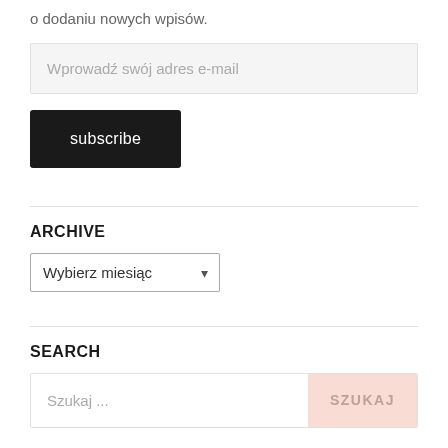o dodaniu nowych wpisów.
[Figure (screenshot): Email input field with placeholder text 'Wprowadź swój adres e-mail']
[Figure (screenshot): Subscribe button with black background and white text]
ARCHIVE
[Figure (screenshot): Dropdown select box with option 'Wybierz miesiąc']
SEARCH
[Figure (screenshot): Search bar with input field placeholder 'Szukaj ...' and pink SZUKAJ button]